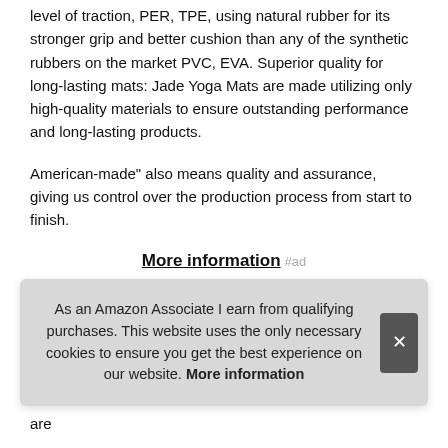level of traction, PER, TPE, using natural rubber for its stronger grip and better cushion than any of the synthetic rubbers on the market PVC, EVA. Superior quality for long-lasting mats: Jade Yoga Mats are made utilizing only high-quality materials to ensure outstanding performance and long-lasting products.
American-made" also means quality and assurance, giving us control over the production process from start to finish.
More information #ad
With trees for the future, we have planted over one million trees since 2006. As jade yoga mats come from trees, we decided to give back by planting a tree for every mat sold. Perf... on t... are...
Sustainable: making sustainable yoga products is our first
As an Amazon Associate I earn from qualifying purchases. This website uses the only necessary cookies to ensure you get the best experience on our website. More information